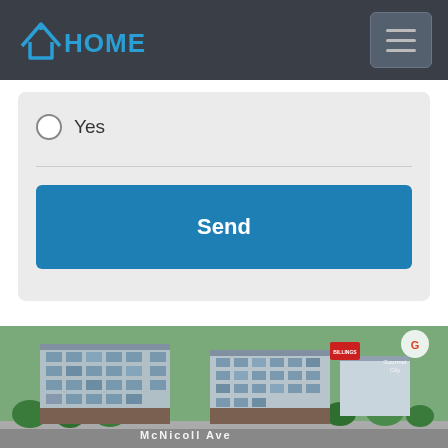PHOMES — navigation header with hamburger menu
Yes (radio button option)
Send (button)
[Figure (photo): Aerial rendering of McNicoll Ave mixed-use development with large mid-rise residential/commercial buildings, street view, trees, and signage including 'McNicoll Ave' text overlay and 'Gourmet City' logo in the upper right corner.]